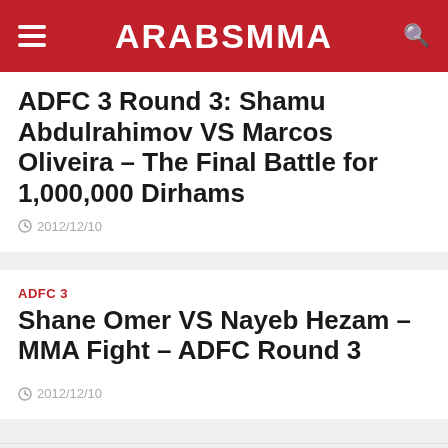ARABSMMA
ADFC 3 Round 3: Shamu Abdulrahimov VS Marcos Oliveira – The Final Battle for 1,000,000 Dirhams
2012/12/10
ADFC 3
Shane Omer VS Nayeb Hezam – MMA Fight – ADFC Round 3
2012/12/10